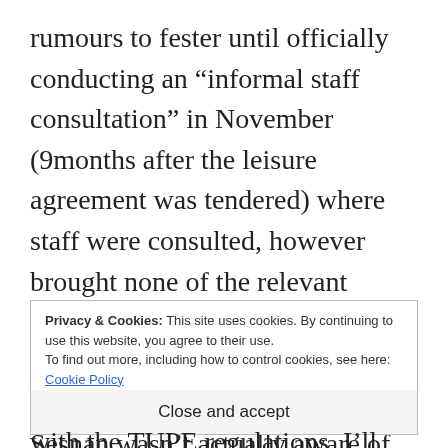rumours to fester until officially conducting an “informal staff consultation” in November (9months after the leisure agreement was tendered) where staff were consulted, however brought none of the relevant method statements along for us to consider/question. Either this statement is a bare-faced lie or Mr Sesnan wasn’t actually aware of how the tendering process was
Privacy & Cookies: This site uses cookies. By continuing to use this website, you agree to their use. To find out more, including how to control cookies, see here: Cookie Policy
Close and accept
with the TUPE regulations. I’ll repeat what